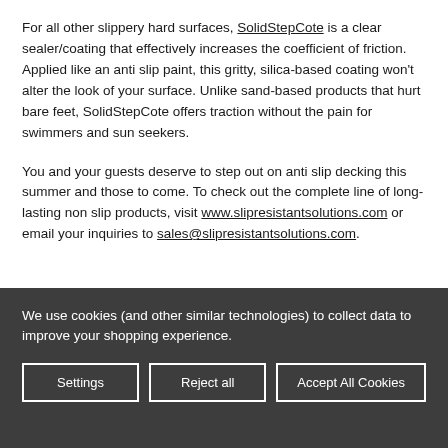For all other slippery hard surfaces, SolidStepCote is a clear sealer/coating that effectively increases the coefficient of friction. Applied like an anti slip paint, this gritty, silica-based coating won't alter the look of your surface. Unlike sand-based products that hurt bare feet, SolidStepCote offers traction without the pain for swimmers and sun seekers.
You and your guests deserve to step out on anti slip decking this summer and those to come. To check out the complete line of long-lasting non slip products, visit www.slipresistantsolutions.com or email your inquiries to sales@slipresistantsolutions.com.
We use cookies (and other similar technologies) to collect data to improve your shopping experience.